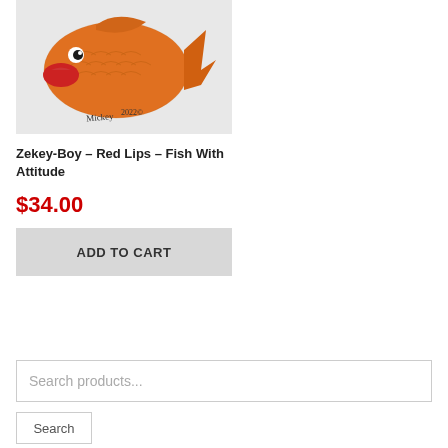[Figure (photo): Product photo of Zekey-Boy Red Lips Fish With Attitude sculpture/figurine in orange and red colors, with artist signature 'Mickey 2022©' visible on the piece]
Zekey-Boy – Red Lips – Fish With Attitude
$34.00
ADD TO CART
Search products...
Search